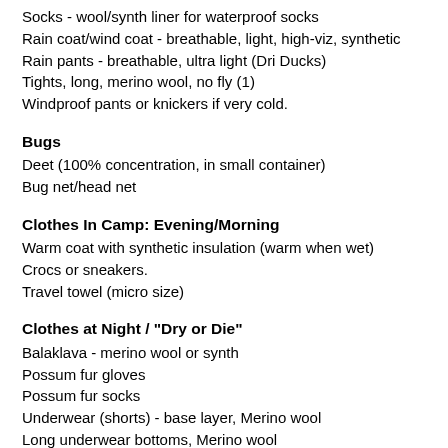Socks - wool/synth liner for waterproof socks
Rain coat/wind coat - breathable, light, high-viz, synthetic
Rain pants - breathable, ultra light (Dri Ducks)
Tights, long, merino wool, no fly (1)
Windproof pants or knickers if very cold.
Bugs
Deet (100% concentration, in small container)
Bug net/head net
Clothes In Camp: Evening/Morning
Warm coat with synthetic insulation (warm when wet)
Crocs or sneakers.
Travel towel (micro size)
Clothes at Night / "Dry or Die"
Balaklava - merino wool or synth
Possum fur gloves
Possum fur socks
Underwear (shorts) - base layer, Merino wool
Long underwear bottoms, Merino wool
Long underwear top, Merino wool